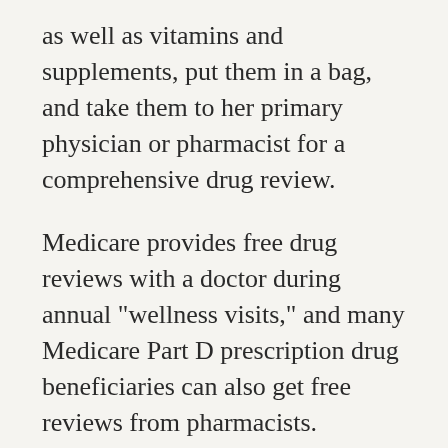as well as vitamins and supplements, put them in a bag, and take them to her primary physician or pharmacist for a comprehensive drug review.
Medicare provides free drug reviews with a doctor during annual "wellness visits," and many Medicare Part D prescription drug beneficiaries can also get free reviews from pharmacists.
At the review, go through each medication and find out if there are any duplicate medications or potentially dangerous combinations. You should also